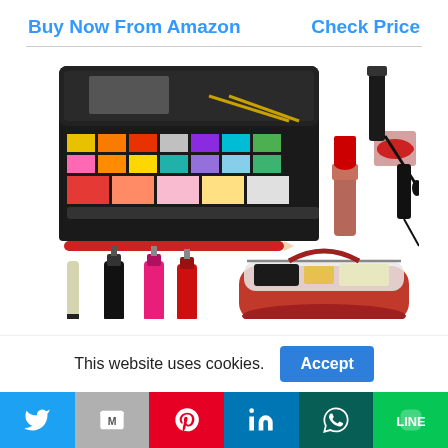Buy Now From Amazon
Check Price
[Figure (photo): Makeup kit product image showing an eyeshadow/blush palette, lipstick with red lip swatch, mascara, eyeliner, a red pencil, nail polish bottles, eyeliner pencil, and a red cosmetics bag filled with products.]
This website uses cookies.
Accept
[Figure (other): Social sharing bar with Twitter (blue), Gmail (grey), Pinterest (red), LinkedIn (blue), WhatsApp (dark green), and LINE (green) buttons.]